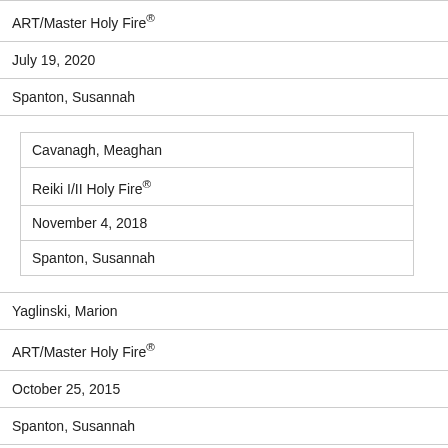| ART/Master Holy Fire® |
| July 19, 2020 |
| Spanton, Susannah |
| [nested: Cavanagh, Meaghan | Reiki I/II Holy Fire® | November 4, 2018 | Spanton, Susannah] |
| Yaglinski, Marion |
| ART/Master Holy Fire® |
| October 25, 2015 |
| Spanton, Susannah |